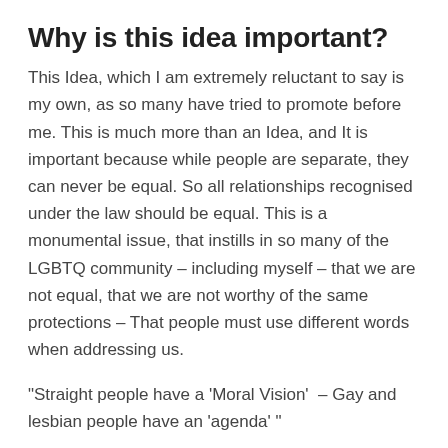Why is this idea important?
This Idea, which I am extremely reluctant to say is my own, as so many have tried to promote before me. This is much more than an Idea, and It is important because while people are separate, they can never be equal. So all relationships recognised under the law should be equal. This is a monumental issue, that instills in so many of the LGBTQ community – including myself – that we are not equal, that we are not worthy of the same protections – That people must use different words when addressing us.
"Straight people have a 'Moral Vision'  – Gay and lesbian people have an 'agenda' "
Heterosexual people have "lives" – Homosexual